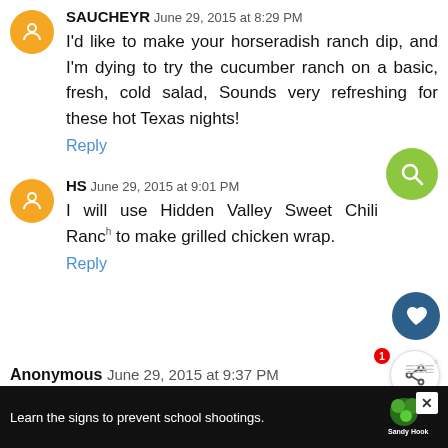SAUCHEYR June 29, 2015 at 8:29 PM
I'd like to make your horseradish ranch dip, and I'm dying to try the cucumber ranch on a basic, fresh, cold salad, Sounds very refreshing for these hot Texas nights!
Reply
HS June 29, 2015 at 9:01 PM
I will use Hidden Valley Sweet Chili Ranch to make grilled chicken wrap.
Reply
Anonymous June 29, 2015 at 9:37 PM
Learn the signs to prevent school shootings. Sandy Hook PROMISE